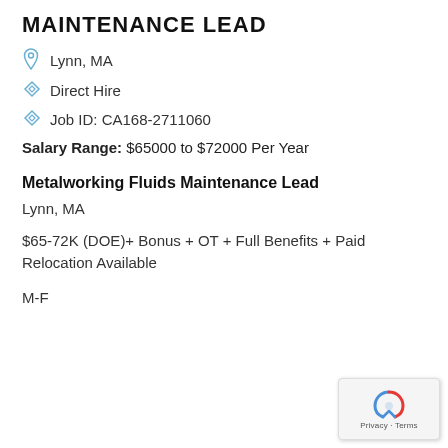MAINTENANCE LEAD
Lynn, MA
Direct Hire
Job ID: CA168-2711060
Salary Range: $65000 to $72000 Per Year
Metalworking Fluids Maintenance Lead
Lynn, MA
$65-72K (DOE)+ Bonus + OT + Full Benefits + Paid Relocation Available
M-F